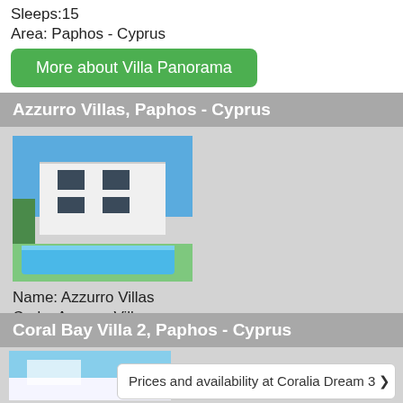Sleeps:15
Area: Paphos - Cyprus
More about Villa Panorama
Azzurro Villas, Paphos - Cyprus
[Figure (photo): Modern white villa with swimming pool and blue sky]
Name: Azzurro Villas
Code: Azzurro Villas
Sleeps:6
Area: Paphos - Cyprus
More about Azzurro Villas
Coral Bay Villa 2, Paphos - Cyprus
Prices and availability at Coralia Dream 3